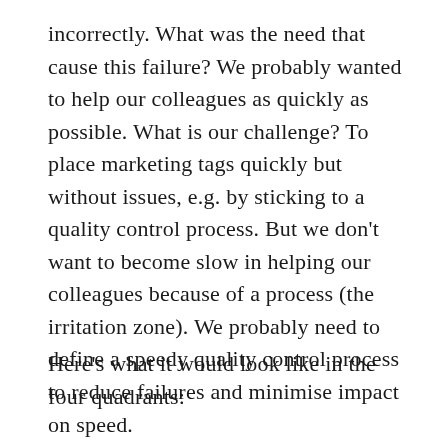incorrectly. What was the need that cause this failure? We probably wanted to help our colleagues as quickly as possible. What is our challenge? To place marketing tags quickly but without issues, e.g. by sticking to a quality control process. But we don't want to become slow in helping our colleagues because of a process (the irritation zone). We probably need to define a speedy quality control process to reduce failures and minimise impact on speed.
Here's what it would look like in the four quadrants: